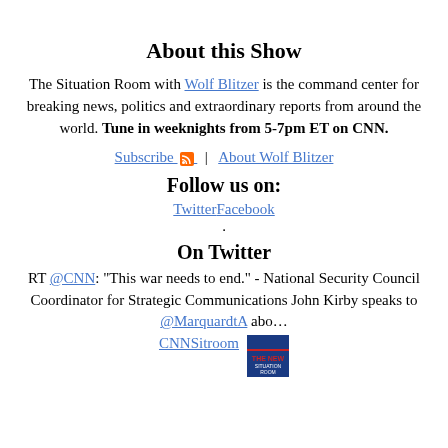About this Show
The Situation Room with Wolf Blitzer is the command center for breaking news, politics and extraordinary reports from around the world. Tune in weeknights from 5-7pm ET on CNN.
Subscribe | About Wolf Blitzer
Follow us on:
TwitterFacebook
.
On Twitter
RT @CNN: "This war needs to end." - National Security Council Coordinator for Strategic Communications John Kirby speaks to @MarquardtA abo…
CNNSitroom